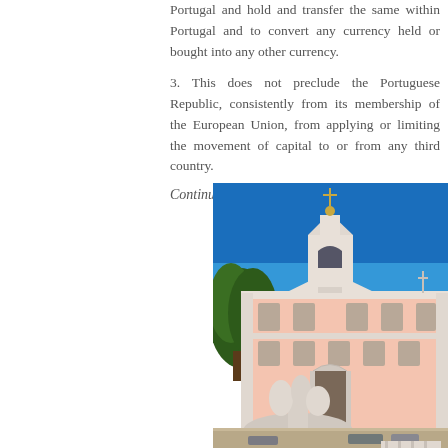Portugal and hold and transfer the same within Portugal and to convert any currency held or bought into any other currency.
3. This does not preclude the Portuguese Republic, consistently from its membership of the European Union, from applying or limiting the movement of capital to or from any third country.
Continued after photo below
[Figure (photo): Photograph of a pink and white Portuguese Baroque palace or government building with ornate white stone facade, bell tower with cross on top, blue sky background, trees on left, and a white sculptural fountain in the foreground.]